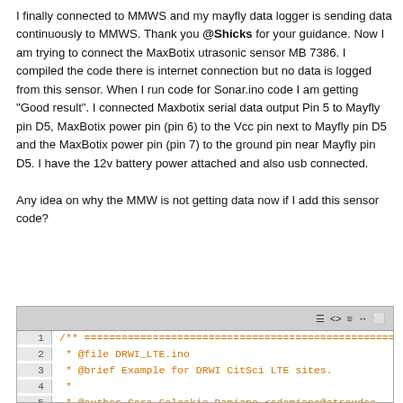I finally connected to MMWS and my mayfly data logger is sending data continuously to MMWS. Thank you @Shicks for your guidance. Now I am trying to connect the MaxBotix utrasonic sensor MB 7386. I compiled the code there is internet connection but no data is logged from this sensor. When I run code for Sonar.ino code I am getting "Good result". I connected Maxbotix serial data output Pin 5 to Mayfly pin D5, MaxBotix power pin (pin 6) to the Vcc pin next to Mayfly pin D5 and the MaxBotix power pin (pin 7) to the ground pin near Mayfly pin D5. I have the 12v battery power attached and also usb connected.

Any idea on why the MMW is not getting data now if I add this sensor code?
[Figure (screenshot): Code editor screenshot showing beginning of DRWI_LTE.ino file with lines 1-6 visible. Line 1: /** followed by a line of equals signs. Line 2: * @file DRWI_LTE.ino. Line 3: * @brief Example for DRWI CitSci LTE sites. Line 4: *. Line 5: * @author Sara Geleskie Damiano <sdamiano@stroudce. Line 6: * @copyright (c) 2017-2020 Stroud Water Research C]